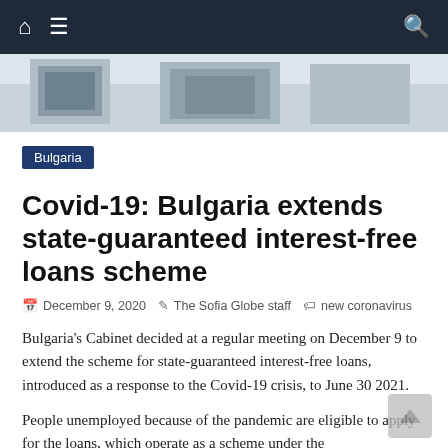Navigation bar with home, menu, and search icons
[Figure (photo): Hero image showing what appears to be a building interior with a clock and decorative elements]
Bulgaria
Covid-19: Bulgaria extends state-guaranteed interest-free loans scheme
December 9, 2020  The Sofia Globe staff  new coronavirus
Bulgaria's Cabinet decided at a regular meeting on December 9 to extend the scheme for state-guaranteed interest-free loans, introduced as a response to the Covid-19 crisis, to June 30 2021.
People unemployed because of the pandemic are eligible to apply for the loans, which operate as a scheme under the